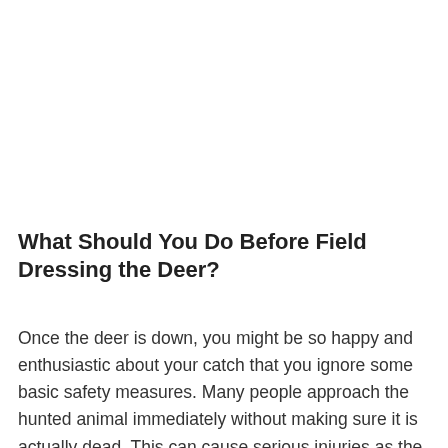What Should You Do Before Field Dressing the Deer?
Once the deer is down, you might be so happy and enthusiastic about your catch that you ignore some basic safety measures. Many people approach the hunted animal immediately without making sure it is actually dead. This can cause serious injuries as the animal will naturally try with its last strengths